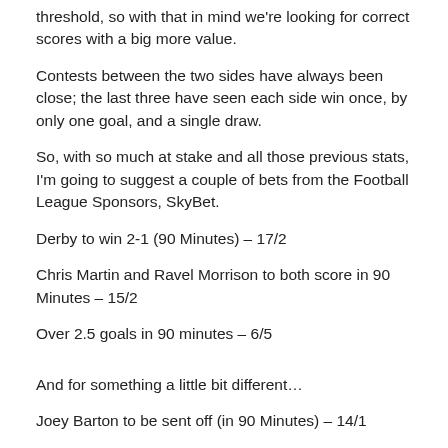threshold, so with that in mind we're looking for correct scores with a big more value.
Contests between the two sides have always been close; the last three have seen each side win once, by only one goal, and a single draw.
So, with so much at stake and all those previous stats, I'm going to suggest a couple of bets from the Football League Sponsors, SkyBet.
Derby to win 2-1 (90 Minutes) – 17/2
Chris Martin and Ravel Morrison to both score in 90 Minutes – 15/2
Over 2.5 goals in 90 minutes – 6/5
And for something a little bit different…
Joey Barton to be sent off (in 90 Minutes) – 14/1